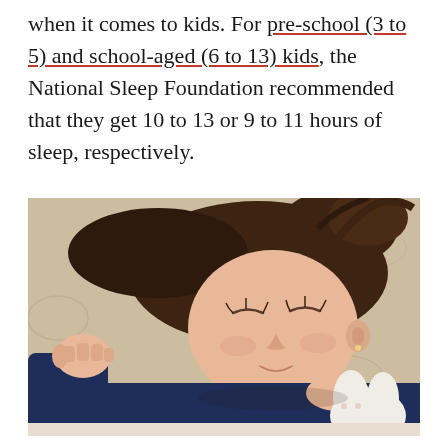when it comes to kids. For pre-school (3 to 5) and school-aged (6 to 13) kids, the National Sleep Foundation recommended that they get 10 to 13 or 9 to 11 hours of sleep, respectively.
[Figure (photo): A young child sleeping peacefully on a patterned pillow, wearing a navy blue long-sleeve shirt, with one hand raised in a fist and the other holding a white stuffed animal toy.]